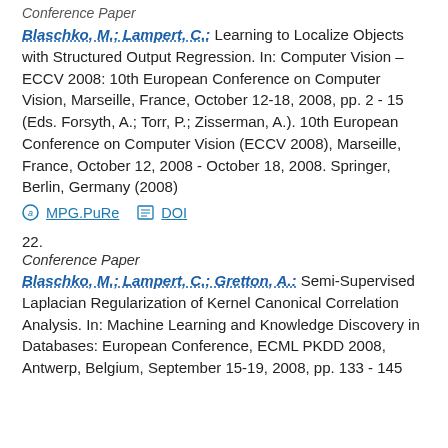Conference Paper
Blaschko, M.; Lampert, C.: Learning to Localize Objects with Structured Output Regression. In: Computer Vision – ECCV 2008: 10th European Conference on Computer Vision, Marseille, France, October 12-18, 2008, pp. 2 - 15 (Eds. Forsyth, A.; Torr, P.; Zisserman, A.). 10th European Conference on Computer Vision (ECCV 2008), Marseille, France, October 12, 2008 - October 18, 2008. Springer, Berlin, Germany (2008)
MPG.PuRe   DOI
22.
Conference Paper
Blaschko, M.; Lampert, C.; Gretton, A.: Semi-Supervised Laplacian Regularization of Kernel Canonical Correlation Analysis. In: Machine Learning and Knowledge Discovery in Databases: European Conference, ECML PKDD 2008, Antwerp, Belgium, September 15-19, 2008, pp. 133 - 145